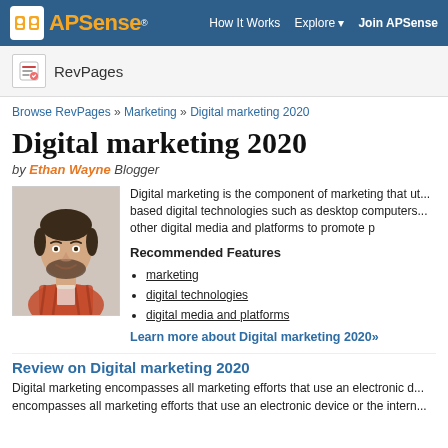APSense® | How It Works | Explore | Join APSense
[Figure (screenshot): APSense logo with orange text and white icon on dark blue navigation bar]
RevPages
Browse RevPages » Marketing » Digital marketing 2020
Digital marketing 2020
by Ethan Wayne Blogger
[Figure (photo): Author photo of a young man with beard wearing a plaid shirt, smiling]
Digital marketing is the component of marketing that ut... based digital technologies such as desktop computers... other digital media and platforms to promote p
Recommended Features
marketing
digital technologies
digital media and platforms
Learn more about Digital marketing 2020»
Review on Digital marketing 2020
Digital marketing encompasses all marketing efforts that use an electronic d... encompasses all marketing efforts that use an electronic device or the intern...